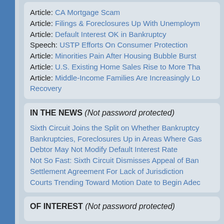Article: CA Mortgage Scam
Article: Filings & Foreclosures Up With Unemployment
Article: Default Interest OK in Bankruptcy
Speech: USTP Efforts On Consumer Protection
Article: Minorities Pain After Housing Bubble Burst
Article: U.S. Existing Home Sales Rise to More Tha...
Article: Middle-Income Families Are Increasingly Lo... Recovery
IN THE NEWS (Not password protected)
Sixth Circuit Joins the Split on Whether Bankruptcy...
Bankruptcies, Foreclosures Up in Areas Where Gas...
Debtor May Not Modify Default Interest Rate
Not So Fast: Sixth Circuit Dismisses Appeal of Ban... Settlement Agreement For Lack of Jurisdiction
Courts Trending Toward Motion Date to Begin Adec...
OF INTEREST (Not password protected)